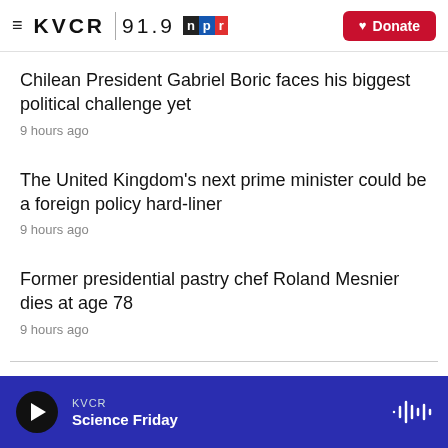KVCR 91.9 NPR — Donate
Chilean President Gabriel Boric faces his biggest political challenge yet
9 hours ago
The United Kingdom's next prime minister could be a foreign policy hard-liner
9 hours ago
Former presidential pastry chef Roland Mesnier dies at age 78
9 hours ago
KVCR — Science Friday